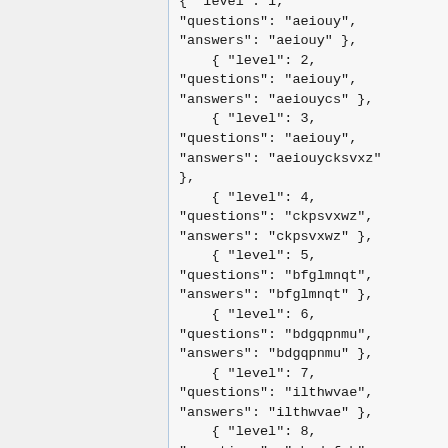{ "level": 1, "questions": "aeiouy", "answers": "aeiouy" }, { "level": 2, "questions": "aeiouy", "answers": "aeiouycs" }, { "level": 3, "questions": "aeiouy", "answers": "aeiouycksvxz" }, { "level": 4, "questions": "ckpsvxwz", "answers": "ckpsvxwz" }, { "level": 5, "questions": "bfglmnqt", "answers": "bfglmnqt" }, { "level": 6, "questions": "bdgqpnmu", "answers": "bdgqpnmu" }, { "level": 7, "questions": "ilthwvae", "answers": "ilthwvae" }, { "level": 8, "questions": "abcdefgh", "answers": "abcdefgh" }, { "level": 9, ...